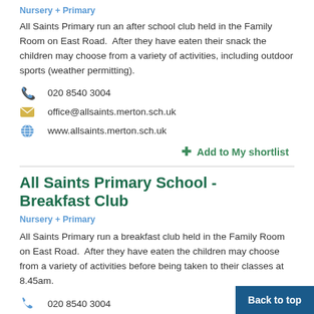Nursery + Primary
All Saints Primary run an after school club held in the Family Room on East Road.  After they have eaten their snack the children may choose from a variety of activities, including outdoor sports (weather permitting).
020 8540 3004
office@allsaints.merton.sch.uk
www.allsaints.merton.sch.uk
+ Add to My shortlist
All Saints Primary School - Breakfast Club
Nursery + Primary
All Saints Primary run a breakfast club held in the Family Room on East Road.  After they have eaten the children may choose from a variety of activities before being taken to their classes at 8.45am.
020 8540 3004
office@allsaints.merton.sch.uk
Back to top